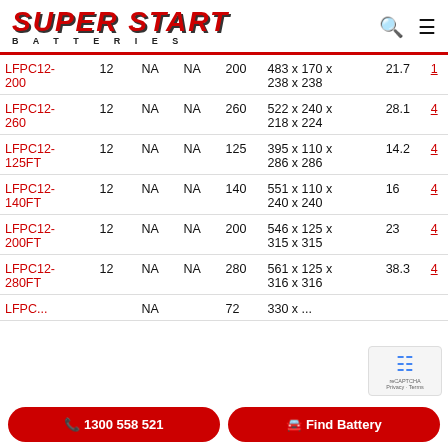SUPER START BATTERIES
| Part | V | CA | CCA | Ah | Dimensions (mm) | kg |  |
| --- | --- | --- | --- | --- | --- | --- | --- |
| LFPC12-200 | 12 | NA | NA | 200 | 483 x 170 x 238 x 238 | 21.7 | 1 |
| LFPC12-260 | 12 | NA | NA | 260 | 522 x 240 x 218 x 224 | 28.1 | 4 |
| LFPC12-125FT | 12 | NA | NA | 125 | 395 x 110 x 286 x 286 | 14.2 | 4 |
| LFPC12-140FT | 12 | NA | NA | 140 | 551 x 110 x 240 x 240 | 16 | 4 |
| LFPC12-200FT | 12 | NA | NA | 200 | 546 x 125 x 315 x 315 | 23 | 4 |
| LFPC12-280FT | 12 | NA | NA | 280 | 561 x 125 x 316 x 316 | 38.3 | 4 |
| LFPC... | ... | NA | ... | 72 | 330 x ... | ... | ... |